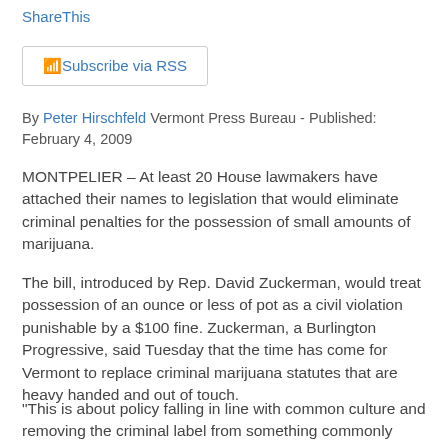ShareThis
[Figure (other): Subscribe via RSS button/image link]
By Peter Hirschfeld Vermont Press Bureau - Published: February 4, 2009
MONTPELIER – At least 20 House lawmakers have attached their names to legislation that would eliminate criminal penalties for the possession of small amounts of marijuana.
The bill, introduced by Rep. David Zuckerman, would treat possession of an ounce or less of pot as a civil violation punishable by a $100 fine. Zuckerman, a Burlington Progressive, said Tuesday that the time has come for Vermont to replace criminal marijuana statutes that are heavy handed and out of touch.
"This is about policy falling in line with common culture and removing the criminal label from something commonly used as a recreational drug," Zuckerman said Tuesday.